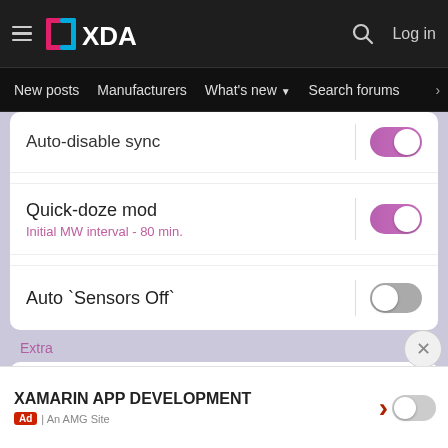XDA — New posts | Manufacturers | What's new | Search forums | Members
Auto-disable sync (toggle on)
Quick-doze mod
Initial MW interval - 80 min. (toggle on)
Auto `Sensors Off` (toggle off)
Extra
Protect battery mod
Maximum charge: 91% (toggle on)
Net speed indicator (greyed out)
XAMARIN APP DEVELOPMENT | Ad | An AMG Site